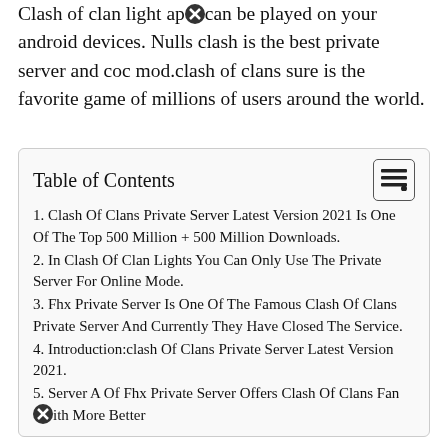Clash of clan light apk can be played on your android devices. Nulls clash is the best private server and coc mod.clash of clans sure is the favorite game of millions of users around the world.
Table of Contents
1. Clash Of Clans Private Server Latest Version 2021 Is One Of The Top 500 Million + 500 Million Downloads.
2. In Clash Of Clan Lights You Can Only Use The Private Server For Online Mode.
3. Fhx Private Server Is One Of The Famous Clash Of Clans Private Server And Currently They Have Closed The Service.
4. Introduction:clash Of Clans Private Server Latest Version 2021.
5. Server A Of Fhx Private Server Offers Clash Of Clans Fans With More Better